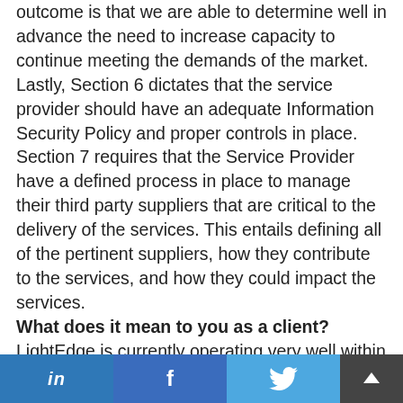outcome is that we are able to determine well in advance the need to increase capacity to continue meeting the demands of the market. Lastly, Section 6 dictates that the service provider should have an adequate Information Security Policy and proper controls in place. Section 7 requires that the Service Provider have a defined process in place to manage their third party suppliers that are critical to the delivery of the services. This entails defining all of the pertinent suppliers, how they contribute to the services, and how they could impact the services.
What does it mean to you as a client?
LightEdge is currently operating very well within all of the standards ISO sets forth in Sections 6 & 7. By meeting these standards, LightEdge is able to provide clients with assurance that all service
in  f  (Twitter bird icon)  ^